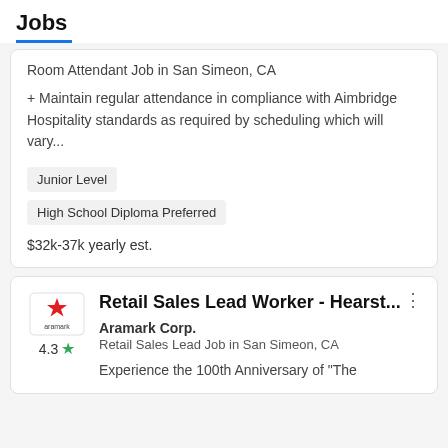Jobs
Room Attendant Job in San Simeon, CA
+ Maintain regular attendance in compliance with Aimbridge Hospitality standards as required by scheduling which will vary...
Junior Level
High School Diploma Preferred
$32k-37k yearly est.
Retail Sales Lead Worker - Hearst...
Aramark Corp.
Retail Sales Lead Job in San Simeon, CA
Experience the 100th Anniversary of "The